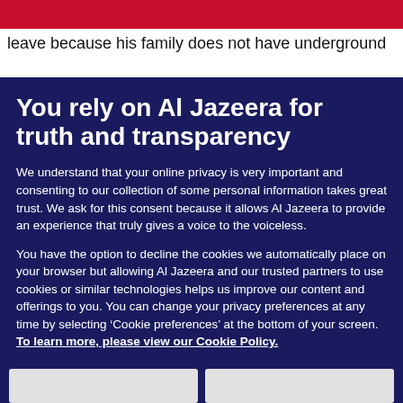leave because his family does not have underground
You rely on Al Jazeera for truth and transparency
We understand that your online privacy is very important and consenting to our collection of some personal information takes great trust. We ask for this consent because it allows Al Jazeera to provide an experience that truly gives a voice to the voiceless.
You have the option to decline the cookies we automatically place on your browser but allowing Al Jazeera and our trusted partners to use cookies or similar technologies helps us improve our content and offerings to you. You can change your privacy preferences at any time by selecting ‘Cookie preferences’ at the bottom of your screen. To learn more, please view our Cookie Policy.